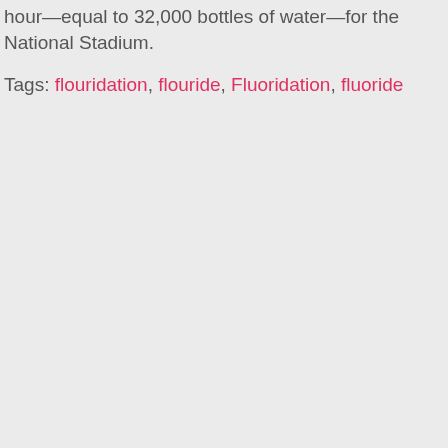hour—equal to 32,000 bottles of water—for the National Stadium.
Tags: flouridation, flouride, Fluoridation, fluoride